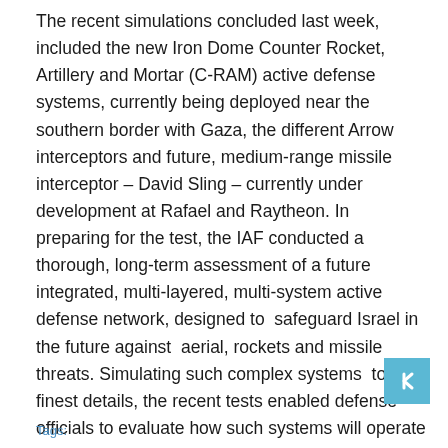The recent simulations concluded last week, included the new Iron Dome Counter Rocket, Artillery and Mortar (C-RAM) active defense systems, currently being deployed near the southern border with Gaza, the different Arrow interceptors and future, medium-range missile interceptor – David Sling – currently under development at Rafael and Raytheon. In preparing for the test, the IAF conducted a thorough, long-term assessment of a future integrated, multi-layered, multi-system active defense network, designed to  safeguard Israel in the future against  aerial, rockets and missile threats. Simulating such complex systems  to the finest details, the recent tests enabled defense officials to evaluate how such systems will operate as an integrated network in the future, highlighting technical, operational, doctrinal challenges and requirements to be addressed through the various development and deployment phases.
Tags: